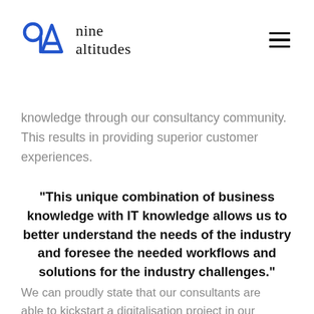[Figure (logo): Nine altitudes logo with stylized '9A' mark in blue and company name in serif font]
knowledge through our consultancy community. This results in providing superior customer experiences.
"This unique combination of business knowledge with IT knowledge allows us to better understand the needs of the industry and foresee the needed workflows and solutions for the industry challenges."
We can proudly state that our consultants are able to kickstart a digitalisation project in our